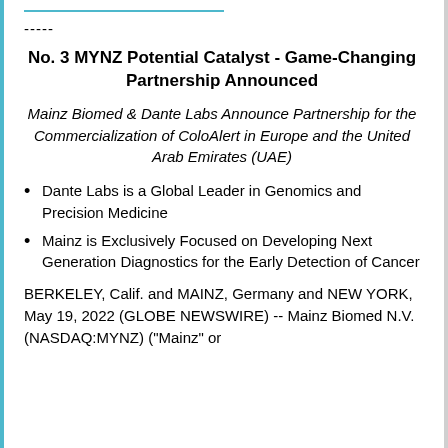-----
No. 3 MYNZ Potential Catalyst - Game-Changing Partnership Announced
Mainz Biomed & Dante Labs Announce Partnership for the Commercialization of ColoAlert in Europe and the United Arab Emirates (UAE)
Dante Labs is a Global Leader in Genomics and Precision Medicine
Mainz is Exclusively Focused on Developing Next Generation Diagnostics for the Early Detection of Cancer
BERKELEY, Calif. and MAINZ, Germany and NEW YORK, May 19, 2022 (GLOBE NEWSWIRE) -- Mainz Biomed N.V. (NASDAQ:MYNZ) ("Mainz" or